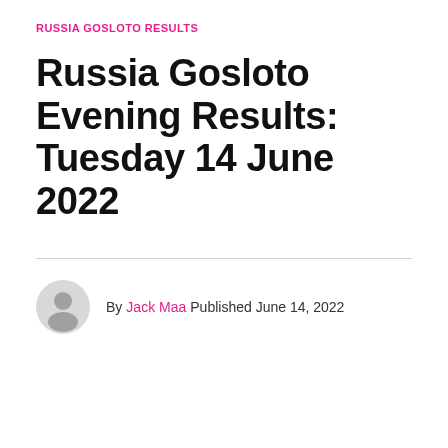RUSSIA GOSLOTO RESULTS
Russia Gosloto Evening Results: Tuesday 14 June 2022
By Jack Maa Published June 14, 2022